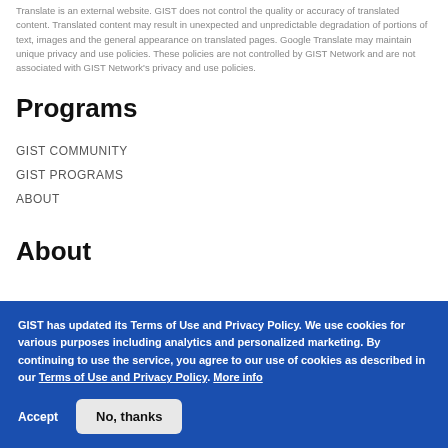Translate is an external website. GIST does not control the quality or accuracy of translated content. Translated content may result in unexpected and unpredictable degradation of portions of text, images and the general appearance on translated pages. Google Translate may maintain unique privacy and use policies. These policies are not controlled by GIST Network and are not associated with GIST Network's privacy and use policies.
Programs
GIST COMMUNITY
GIST PROGRAMS
ABOUT
About
GIST has updated its Terms of Use and Privacy Policy. We use cookies for various purposes including analytics and personalized marketing. By continuing to use the service, you agree to our use of cookies as described in our Terms of Use and Privacy Policy. More info
Accept  No, thanks